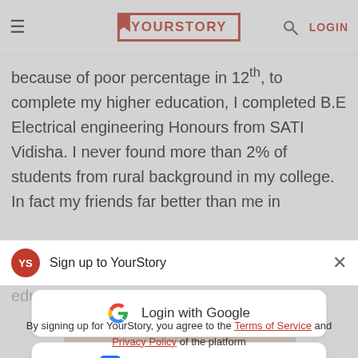YourStory
because of poor percentage in 12th, to complete my higher education, I completed B.E Electrical engineering Honours from SATI Vidisha. I never found more than 2% of students from rural background in my college. In fact my friends far better than me in
out due to lack of encouragement and poor education from schools
Sign up to YourStory
Login with Google
Login with Facebook
By signing up for YourStory, you agree to the Terms of Service and Privacy Policy of the platform